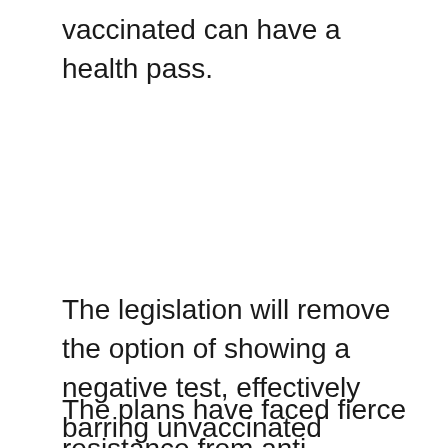vaccinated can have a health pass.
The legislation will remove the option of showing a negative test, effectively barring unvaccinated people from hospitality venues or trains.
The plans have faced fierce resistance from anti-vaccination campaigners and